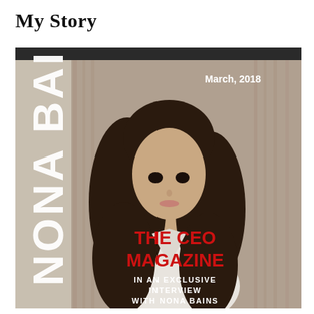My Story
[Figure (photo): Magazine cover of The CEO Magazine, March 2018, featuring Nona Bains. A woman with long dark hair wearing a white blazer poses for the cover. Large white vertical text reads 'NONA BAINS' on the left side. Date 'March, 2018' appears top right. Red bold text reads 'THE CEO MAGAZINE' and below in white 'IN AN EXCLUSIVE INTERVIEW WITH NONA BAINS'.]